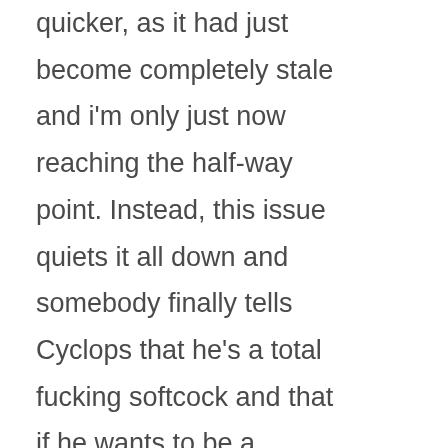quicker, as it had just become completely stale and i'm only just now reaching the half-way point. Instead, this issue quiets it all down and somebody finally tells Cyclops that he's a total fucking softcock and that if he wants to be a mopey prick, he should do it in his room.  I'm fully aware that he's going to stay a softcock for life, because I've read enough X-Men comics in the past two years to know